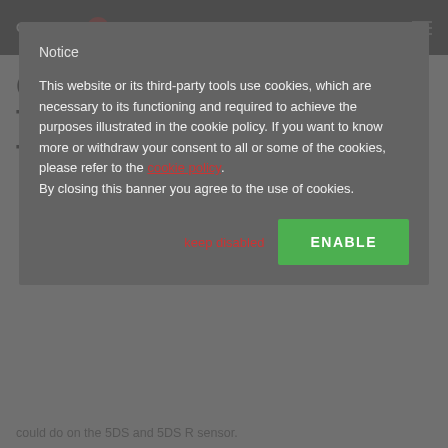CANON WATCH
CANON EOS 5DS & 5DS R TECHNICAL REVIEW BY TONY NORTHRUP (AND
Notice
This website or its third-party tools use cookies, which are necessary to its functioning and required to achieve the purposes illustrated in the cookie policy. If you want to know more or withdraw your consent to all or some of the cookies, please refer to the cookie policy. By closing this banner you agree to the use of cookies.
keep disabled
ENABLE
could do on the 5DS and 5DS R sensor.